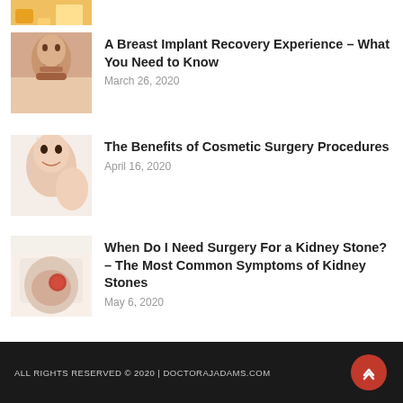[Figure (photo): Partial view of a food/diet related image at the top (cropped)]
A Breast Implant Recovery Experience – What You Need to Know
March 26, 2020
[Figure (photo): Woman in beige bra touching her chest, breast implant recovery concept]
The Benefits of Cosmetic Surgery Procedures
April 16, 2020
[Figure (photo): Young woman with cosmetic surgery markings on face, smiling]
When Do I Need Surgery For a Kidney Stone? – The Most Common Symptoms of Kidney Stones
May 6, 2020
[Figure (photo): Woman in white top holding her side/kidney area with red highlighted pain area]
ALL RIGHTS RESERVED © 2020 | DOCTORAJADAMS.COM